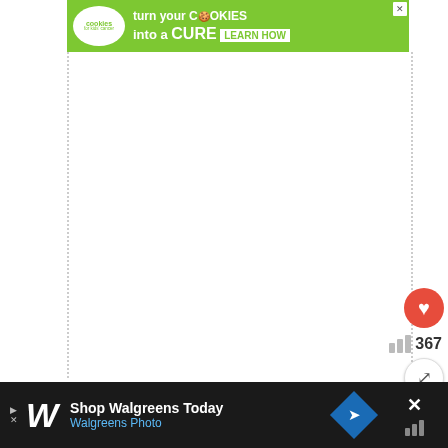[Figure (screenshot): Green banner advertisement: 'cookies for kids cancer — turn your COOKIES into a CURE LEARN HOW']
Where is Bernie
Who cares about Waldo, let's find
[Figure (screenshot): WHAT'S NEXT → Best Memes of 2021 panel with thumbnail]
[Figure (screenshot): Bottom advertisement: Shop Walgreens Today — Walgreens Photo with blue diamond navigation icon]
[Figure (screenshot): Close button X on black background, right side]